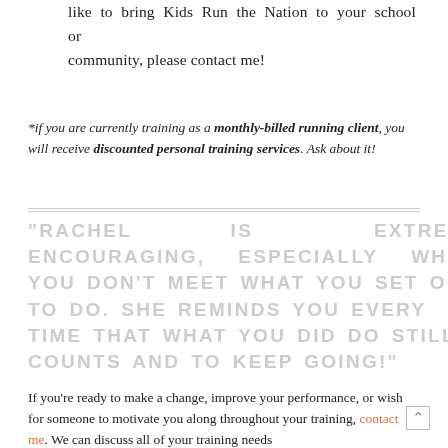like to bring Kids Run the Nation to your school or community, please contact me!
*if you are currently training as a monthly-billed running client, you will receive discounted personal training services. Ask about it!
"RACHEL IS EXTREMELY ENCOURAGING, ESPECIALLY WHEN YOU DON'T MEET WHAT YOU SET OUT TO DO. SHE REMINDS YOU EVERY TIME THAT WHAT YOU DID DO STILL COUNTS AND TO KEEP GOING!"
If you're ready to make a change, improve your performance, or wish for someone to motivate you along throughout your training, contact me. We can discuss all of your training needs